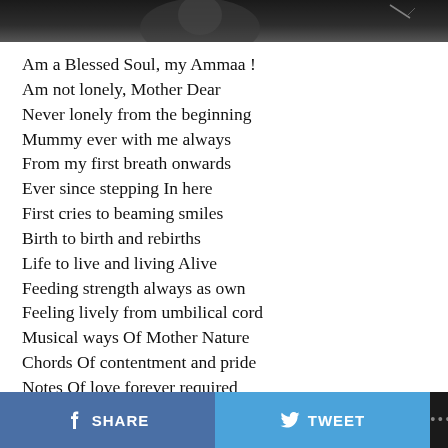[Figure (photo): Dark photograph strip at the top of the page, partially showing a figure against a dark background]
Am a Blessed Soul, my Ammaa !
Am not lonely, Mother Dear
Never lonely from the beginning
Mummy ever with me always
From my first breath onwards
Ever since stepping In here
First cries to beaming smiles
Birth to birth and rebirths
Life to live and living Alive
Feeding strength always as own
Feeling lively from umbilical cord
Musical ways Of Mother Nature
Chords Of contentment and pride
Notes Of love forever required
Am a blessed soul my Ammaa
SHARE   TWEET   ...